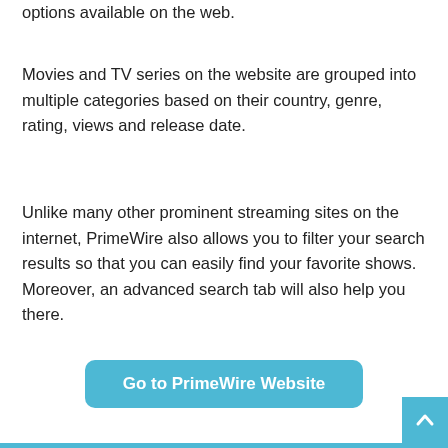options available on the web.
Movies and TV series on the website are grouped into multiple categories based on their country, genre, rating, views and release date.
Unlike many other prominent streaming sites on the internet, PrimeWire also allows you to filter your search results so that you can easily find your favorite shows. Moreover, an advanced search tab will also help you there.
Go to PrimeWire Website